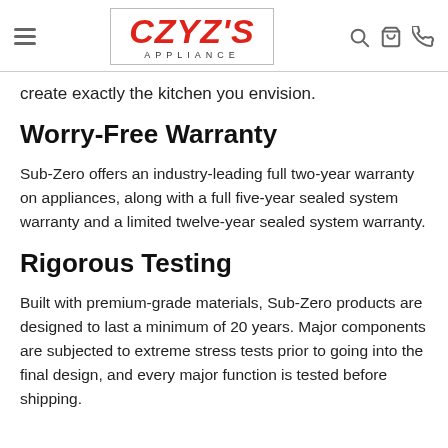CZYZ'S APPLIANCE
create exactly the kitchen you envision.
Worry-Free Warranty
Sub-Zero offers an industry-leading full two-year warranty on appliances, along with a full five-year sealed system warranty and a limited twelve-year sealed system warranty.
Rigorous Testing
Built with premium-grade materials, Sub-Zero products are designed to last a minimum of 20 years. Major components are subjected to extreme stress tests prior to going into the final design, and every major function is tested before shipping.